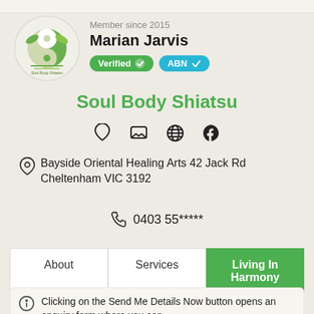Member since 2015
Marian Jarvis
Verified ✓   ABN ✓
Soul Body Shiatsu
[Figure (logo): Soul Body Shiatsu Revitalise circular logo with yin-yang and leaf motif]
Bayside Oriental Healing Arts 42 Jack Rd Cheltenham VIC 3192
0403 55*****
About   Services   Living In Harmony
Clicking on the Send Me Details Now button opens an enquiry form where you can